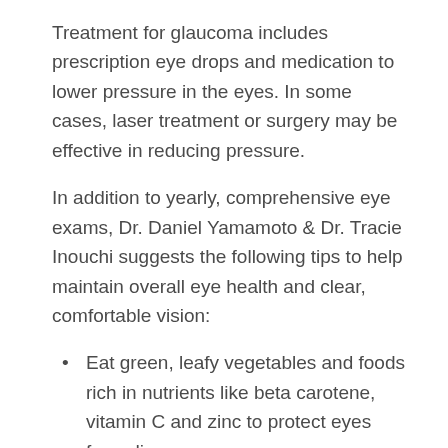Treatment for glaucoma includes prescription eye drops and medication to lower pressure in the eyes. In some cases, laser treatment or surgery may be effective in reducing pressure.
In addition to yearly, comprehensive eye exams, Dr. Daniel Yamamoto & Dr. Tracie Inouchi suggests the following tips to help maintain overall eye health and clear, comfortable vision:
Eat green, leafy vegetables and foods rich in nutrients like beta carotene, vitamin C and zinc to protect eyes from disease.
Cut down on those bad habits such as smoking and consuming alcohol or